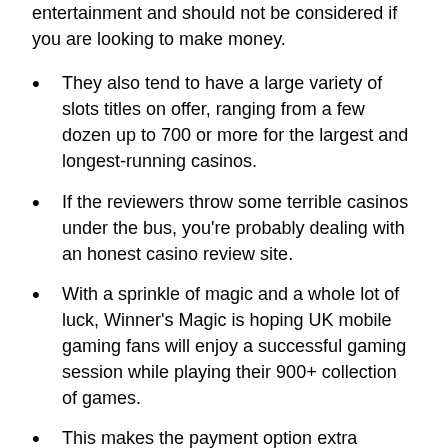entertainment and should not be considered if you are looking to make money.
They also tend to have a large variety of slots titles on offer, ranging from a few dozen up to 700 or more for the largest and longest-running casinos.
If the reviewers throw some terrible casinos under the bus, you're probably dealing with an honest casino review site.
With a sprinkle of magic and a whole lot of luck, Winner's Magic is hoping UK mobile gaming fans will enjoy a successful gaming session while playing their 900+ collection of games.
This makes the payment option extra secure for making online gambling deposits.
Slots are perfect for mobile devices; these visually eye-catching games can fit the screen of a mobile